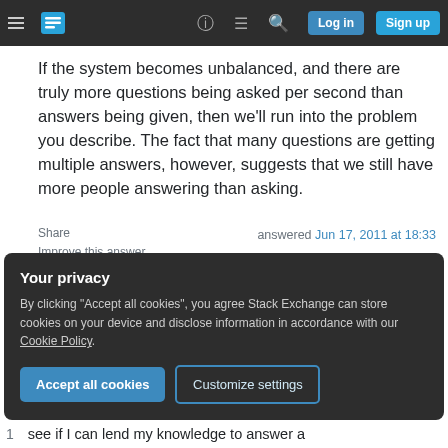Stack Exchange navigation bar with hamburger menu, logo, help, chat, search icons, Log in and Sign up buttons
If the system becomes unbalanced, and there are truly more questions being asked per second than answers being given, then we'll run into the problem you describe. The fact that many questions are getting multiple answers, however, suggests that we still have more people answering than asking.
Share
Improve this answer
Follow
answered Jun 17, 2011 at 18:33
Your privacy
By clicking "Accept all cookies", you agree Stack Exchange can store cookies on your device and disclose information in accordance with our Cookie Policy.
Accept all cookies   Customize settings
1   see if I can lend my knowledge to answer a